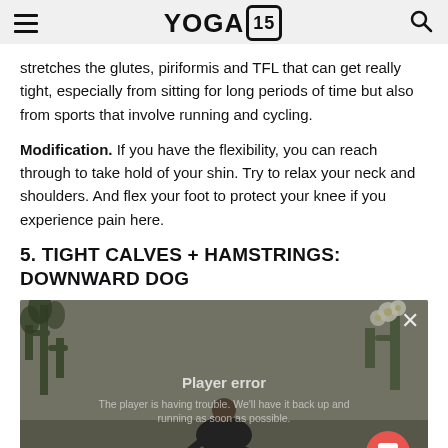YOGA 15
stretches the glutes, piriformis and TFL that can get really tight, especially from sitting for long periods of time but also from sports that involve running and cycling.
Modification. If you have the flexibility, you can reach through to take hold of your shin. Try to relax your neck and shoulders. And flex your foot to protect your knee if you experience pain here.
5. TIGHT CALVES + HAMSTRINGS: DOWNWARD DOG
[Figure (screenshot): Video player showing a person doing yoga in a room with plants. Player error overlay reads: 'Player error' and 'The player is having trouble. We'll have it back up and running as soon as possible.' A red chat button is in the bottom right corner.]